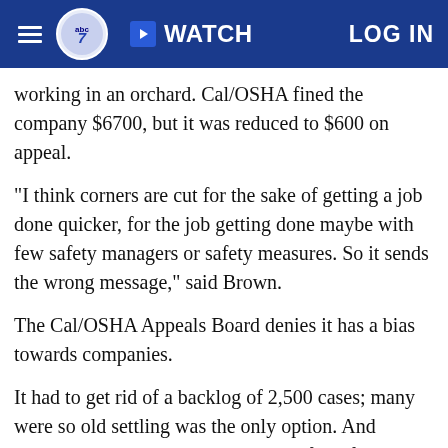abc7 WATCH LOG IN
working in an orchard. Cal/OSHA fined the company $6700, but it was reduced to $600 on appeal.
"I think corners are cut for the sake of getting a job done quicker, for the job getting done maybe with few safety managers or safety measures. So it sends the wrong message," said Brown.
The Cal/OSHA Appeals Board denies it has a bias towards companies.
It had to get rid of a backlog of 2,500 cases; many were so old settling was the only option. And sometimes the evidence or witness of a safety violation just wasn't there.
"We're fair and objective. It's what we strive for. But we still have work to do," said Appeals Board Chairman...